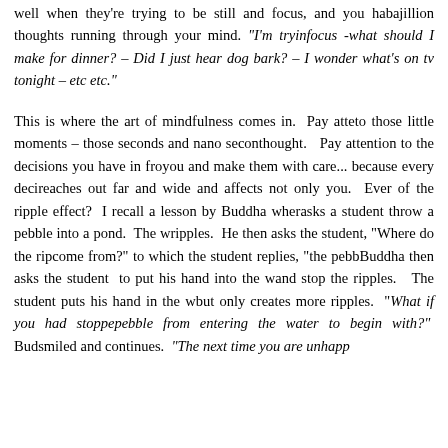well when they're trying to be still and focus, and you have a bajillion thoughts running through your mind. "I'm trying to focus -what should I make for dinner? – Did I just hear a dog bark? – I wonder what's on tv tonight – etc etc."
This is where the art of mindfulness comes in. Pay attention to those little moments – those seconds and nano seconds of thought. Pay attention to the decisions you have in front of you and make them with care... because every decision reaches out far and wide and affects not only you. Ever hear of the ripple effect? I recall a lesson by Buddha where he asks a student throw a pebble into a pond. The water ripples. He then asks the student, "Where do the ripples come from?" to which the student replies, "the pebble." Buddha then asks the student to put his hand into the water and stop the ripples. The student puts his hand in the water but only creates more ripples. "What if you had stopped the pebble from entering the water to begin with?" Buddha smiled and continues. "The next time you are unhappy...